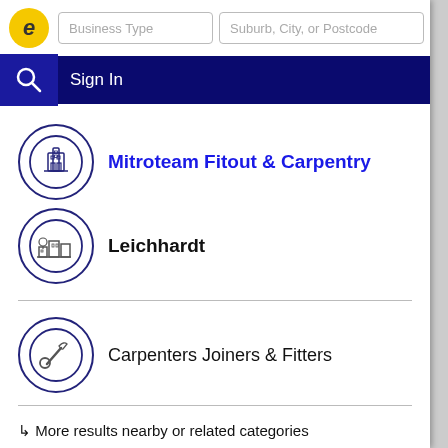[Figure (screenshot): Website header with logo, Business Type search box, Suburb/City/or Postcode search box, and Sign In navigation bar]
Mitroteam Fitout & Carpentry
Leichhardt
Carpenters Joiners & Fitters
↳ More results nearby or related categories
Carpenters Leichhardt NSW
Handrails & Staircases Leichhardt NSW